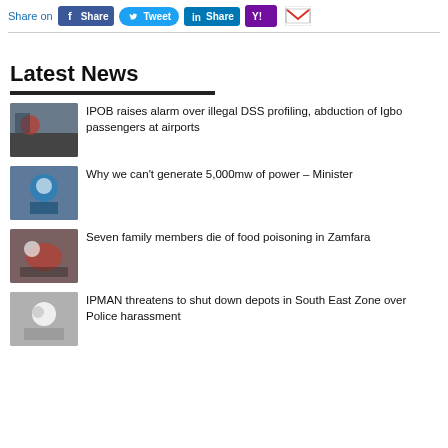[Figure (infographic): Social media share bar with Facebook Share, Twitter Tweet, LinkedIn Share, Yahoo, and Gmail buttons]
Latest News
IPOB raises alarm over illegal DSS profiling, abduction of Igbo passengers at airports
Why we can't generate 5,000mw of power – Minister
Seven family members die of food poisoning in Zamfara
IPMAN threatens to shut down depots in South East Zone over Police harassment